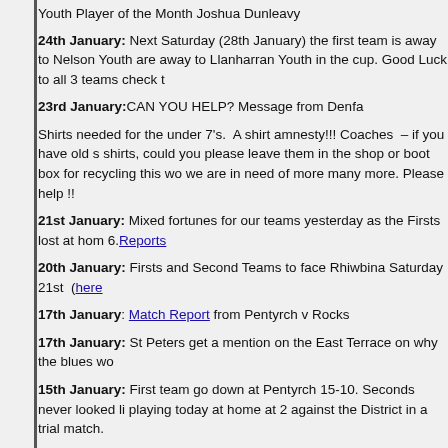Youth Player of the Month Joshua Dunleavy
24th January: Next Saturday (28th January) the first team is away to Nelson Youth are away to Llanharran Youth in the cup. Good Luck to all 3 teams check t
23rd January: CAN YOU HELP? Message from Denfa
Shirts needed for the under 7's. A shirt amnesty!!! Coaches – if you have old shirts, could you please leave them in the shop or boot box for recycling this we are in need of more many more. Please help !!
21st January: Mixed fortunes for our teams yesterday as the Firsts lost at hom 6.Reports
20th January: Firsts and Second Teams to face Rhiwbina Saturday 21st (here
17th January: Match Report from Pentyrch v Rocks
17th January: St Peters get a mention on the East Terrace on why the blues wo
15th January: First team go down at Pentyrch 15-10. Seconds never looked li playing today at home at 2 against the District in a trial match.
14th January: Read Vinces latest Cardiff East Editorial here
14th January: Games this weekend Saturday: Firsts away to Pentyrch. Seconds
13th January: The RoX Factor is coming 4th February The RoX factor on the 4th
We will need 4 impartial judges and 1 Dermot O'neally (jimmy Ray) to present th
It is the weekend of Internationals but Wales are playing on Sunday. This will be is supported.